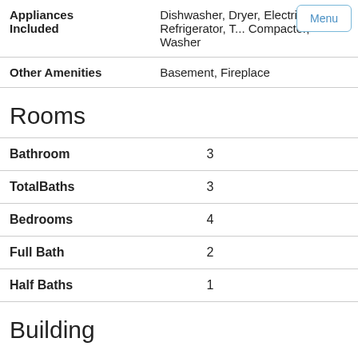| Field | Value |
| --- | --- |
| Appliances Included | Dishwasher, Dryer, Electric Range, Refrigerator, T... Compactor, Washer |
| Other Amenities | Basement, Fireplace |
Rooms
| Field | Value |
| --- | --- |
| Bathroom | 3 |
| TotalBaths | 3 |
| Bedrooms | 4 |
| Full Bath | 2 |
| Half Baths | 1 |
Building
Property Style